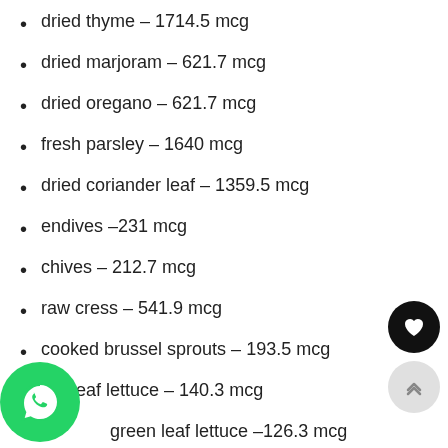dried thyme – 1714.5 mcg
dried marjoram – 621.7 mcg
dried oregano – 621.7 mcg
fresh parsley – 1640 mcg
dried coriander leaf – 1359.5 mcg
endives –231 mcg
chives – 212.7 mcg
raw cress – 541.9 mcg
cooked brussel sprouts – 193.5 mcg
red leaf lettuce – 140.3 mcg
green leaf lettuce –126.3 mcg
soybean oil – 183.9 mcg